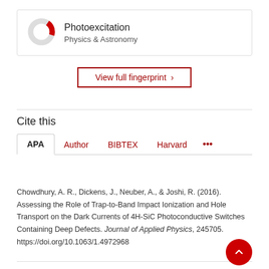[Figure (donut-chart): Donut chart icon representing Photoexcitation in Physics & Astronomy, mostly gray with a red segment at top-right]
Photoexcitation
Physics & Astronomy
View full fingerprint >
Cite this
APA  Author  BIBTEX  Harvard  ...
Chowdhury, A. R., Dickens, J., Neuber, A., & Joshi, R. (2016). Assessing the Role of Trap-to-Band Impact Ionization and Hole Transport on the Dark Currents of 4H-SiC Photoconductive Switches Containing Deep Defects. Journal of Applied Physics, 245705. https://doi.org/10.1063/1.4972968